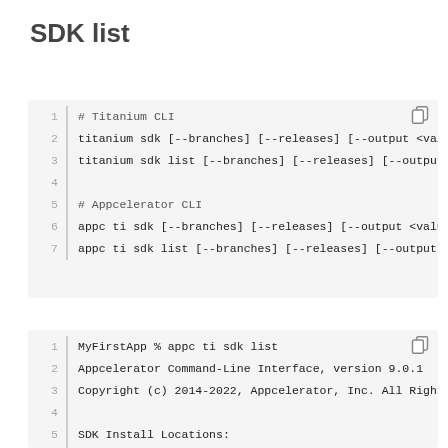SDK list
[Figure (screenshot): Code block 1 showing Titanium CLI and Appcelerator CLI sdk commands with line numbers 1-7]
[Figure (screenshot): Code block 2 showing terminal output of appc ti sdk list command with line numbers 1-8]